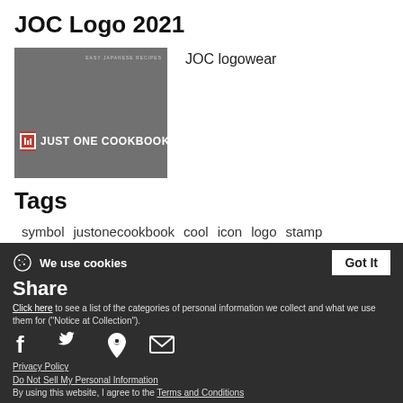JOC Logo 2021
[Figure (logo): JOC Just One Cookbook logo on grey background with red icon]
JOC logowear
Tags
symbol
justonecookbook
cool
icon
logo
stamp
We use cookies  Got It  Share  Click here to see a list of the categories of personal information we collect and what we use them for ("Notice at Collection").  Privacy Policy  Do Not Sell My Personal Information  By using this website, I agree to the Terms and Conditions